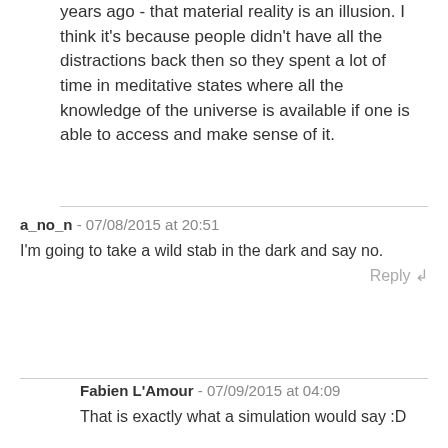The Vedas were also onto a lot of this stuff 1000 years ago - that material reality is an illusion. I think it's because people didn't have all the distractions back then so they spent a lot of time in meditative states where all the knowledge of the universe is available if one is able to access and make sense of it.
a_no_n - 07/08/2015 at 20:51
I'm going to take a wild stab in the dark and say no.
Reply ↲
Fabien L'Amour - 07/09/2015 at 04:09
That is exactly what a simulation would say :D
a_no_n - 07/09/2015 at 08:14